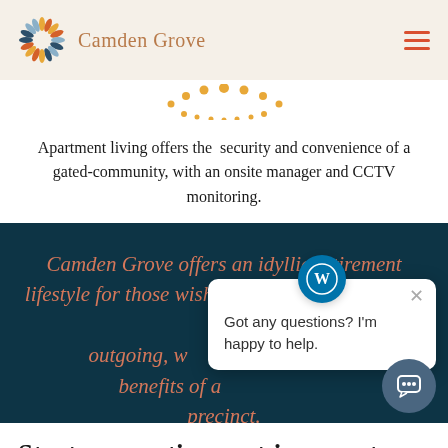Camden Grove
[Figure (illustration): Decorative orange dot arc/smile shape]
Apartment living offers the  security and convenience of a gated-community, with an onsite manager and CCTV monitoring.
Camden Grove offers an idyllic retirement lifestyle for those wishing to maintain an active and outgoing, whilst enjoying all the benefits of a safe and secure precinct.
[Figure (screenshot): Chat popup widget with WordPress icon and text: Got any questions? I'm happy to help.]
Start your retirement journey to